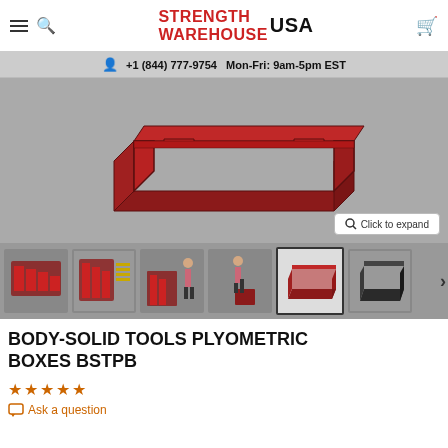Strength Warehouse USA — +1 (844) 777-9754  Mon-Fri: 9am-5pm EST
[Figure (photo): Red plyometric box frame (Body-Solid Tools BSTPB) shown from above at an angle on a gray background; also a row of thumbnail product images below showing multiple views including full sets and people using the box]
BODY-SOLID TOOLS PLYOMETRIC BOXES BSTPB
☆☆☆☆☆ Ask a question